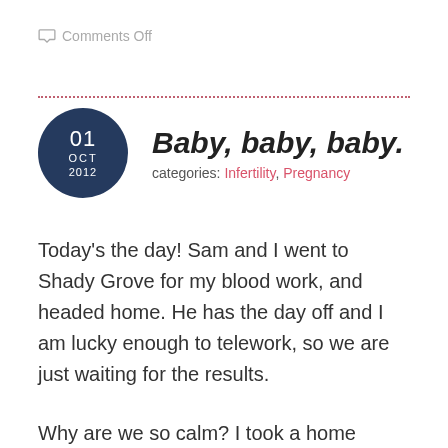Comments Off
Baby, baby, baby.
categories: Infertility, Pregnancy
Today’s the day! Sam and I went to Shady Grove for my blood work, and headed home. He has the day off and I am lucky enough to telework, so we are just waiting for the results.
Why are we so calm? I took a home pregnancy test on Friday ... make that 4. So we already know WE’RE PREGNANT.